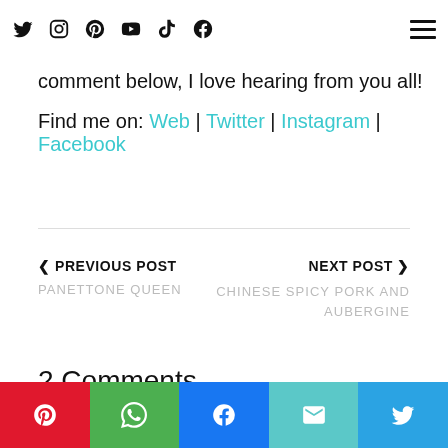Social media icons: Twitter, Instagram, Pinterest, YouTube, TikTok, Facebook; Hamburger menu
awe of nature and on a mission to seek the joy every moment. Please feel free to leave a comment below, I love hearing from you all!
Find me on: Web | Twitter | Instagram | Facebook
< PREVIOUS POST
PANETTONE QUEEN
NEXT POST >
CHINESE SPICY PORK AND AUBERGINE
2 Comments
Share buttons: Pinterest, WhatsApp, Facebook, Email, Twitter